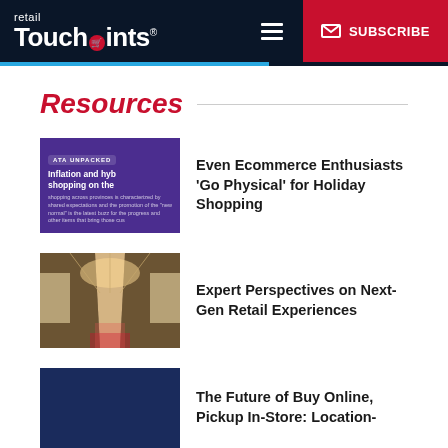retail TouchPoints® ☰ SUBSCRIBE
Resources
[Figure (screenshot): Purple infographic thumbnail with text: ATA UNPACKED, Inflation and hybrid shopping on the...]
Even Ecommerce Enthusiasts 'Go Physical' for Holiday Shopping
[Figure (photo): Photo of retail store corridor/mall interior with glass ceiling]
Expert Perspectives on Next-Gen Retail Experiences
[Figure (illustration): Dark navy blue thumbnail image]
The Future of Buy Online, Pickup In-Store: Location-